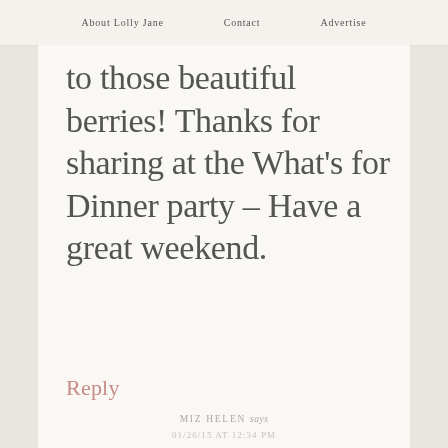About Lolly Jane   Contact   Advertise
to those beautiful berries! Thanks for sharing at the What's for Dinner party – Have a great weekend.
Reply
MIZ HELEN says
01/26/15 AT 12:34 PM